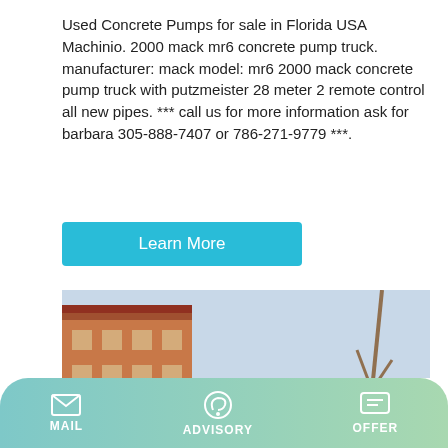Used Concrete Pumps for sale in Florida USA Machinio. 2000 mack mr6 concrete pump truck. manufacturer: mack model: mr6 2000 mack concrete pump truck with putzmeister 28 meter 2 remote control all new pipes. *** call us for more information ask for barbara 305-888-7407 or 786-271-9779 ***.
Learn More
[Figure (photo): Photo of a white concrete pump machine labelled JBS40-10-52R CONCRETE PUMP with DISCHARGE MIXING labels visible on the drum, parked outdoors with a building in the background.]
MAIL   ADVISORY   OFFER